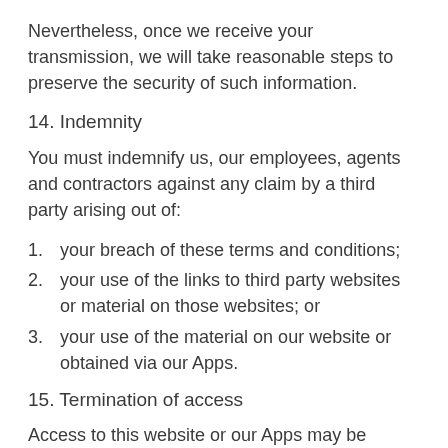Nevertheless, once we receive your transmission, we will take reasonable steps to preserve the security of such information.
14. Indemnity
You must indemnify us, our employees, agents and contractors against any claim by a third party arising out of:
your breach of these terms and conditions;
your use of the links to third party websites or material on those websites; or
your use of the material on our website or obtained via our Apps.
15. Termination of access
Access to this website or our Apps may be terminated at any time by us without notice